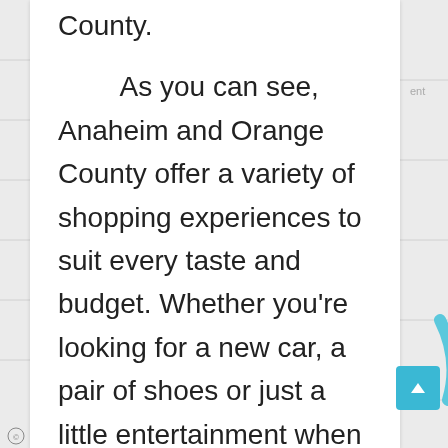County.

    As you can see, Anaheim and Orange County offer a variety of shopping experiences to suit every taste and budget. Whether you're looking for a new car, a pair of shoes or just a little entertainment when shopping, they offer a variety of shopping experiences for every taste and budget. Located just outside downtown Los Angeles at the intersection of Main Street and Santa Monica Boulevard, the shopping street is one of the most popular in Southern California. The largest cinema in the Orange